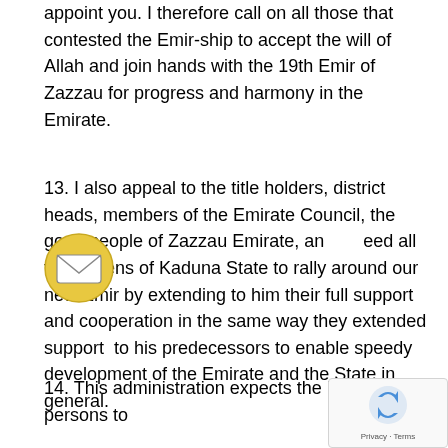appoint you. I therefore call on all those that contested the Emir-ship to accept the will of Allah and join hands with the 19th Emir of Zazzau for progress and harmony in the Emirate.
13. I also appeal to the title holders, district heads, members of the Emirate Council, the good people of Zazzau Emirate, and indeed all the citizens of Kaduna State to rally around our new Emir by extending to him their full support and cooperation in the same way they extended support to his predecessors to enable speedy development of the Emirate and the State in general.
14. This administration expects the loyalty of all persons to our Emirs and Chiefs and will take firm and decisive action against any person that attempts to undermine, in any shape or form, the non-partisan and noble status of our traditional institution, particularly Zazzau Emirate.
15. The State Government appreciates the tremendous